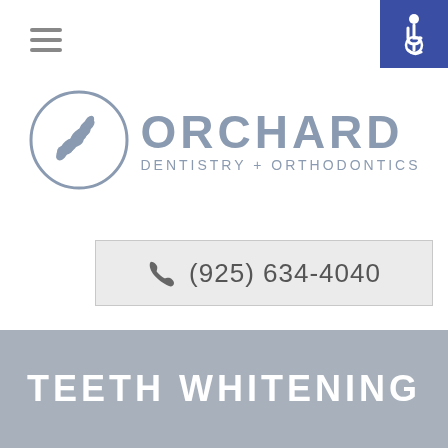[Figure (logo): Orchard Dentistry + Orthodontics logo with circular leaf/branch emblem and text]
(925) 634-4040
[Figure (infographic): Social media icons: Facebook, Instagram, Yelp, Google]
TEETH WHITENING